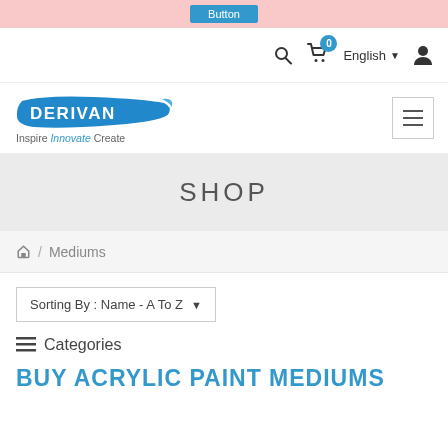[Figure (screenshot): Top pink promotional banner with a blue button]
Navigation bar with search icon, cart (0), English language selector, and user icon
[Figure (logo): Derivan logo with tagline: Inspire Innovate Create]
SHOP
Home / Mediums
Sorting By : Name - A To Z
Categories
BUY ACRYLIC PAINT MEDIUMS